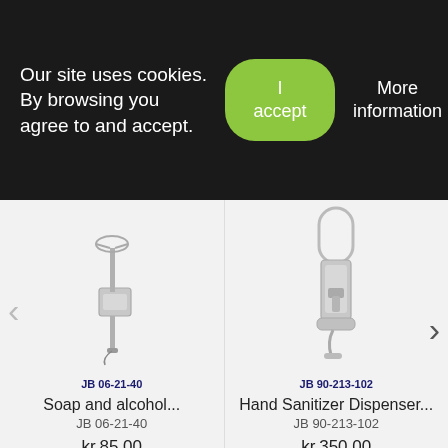Our site uses cookies. By browsing you agree to and accept.
I accept
More information
[Figure (photo): Soap and alcohol dispenser product image, wall-mount metal dispenser, product code JB 06-21-40]
JB 06-21-40
Soap and alcohol...
JB 06-21-40
kr.85.00
[Figure (photo): Hand sanitizer dispenser product image, metal foot-operated dispenser with handle, product code JB 90-213-102]
JB 90-213-102
Hand Sanitizer Dispenser...
JB 90-213-102
kr.350.00